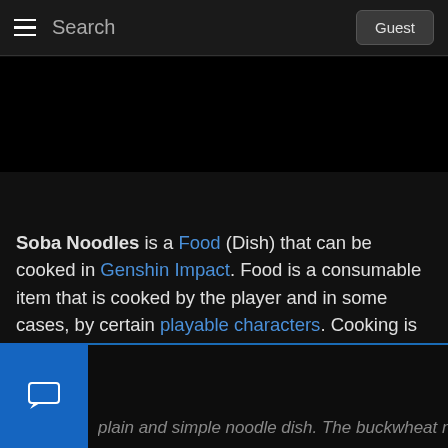Search  Guest
[Figure (photo): Dark image area at top of content, mostly black]
Soba Noodles is a Food (Dish) that can be cooked in Genshin Impact. Food is a consumable item that is cooked by the player and in some cases, by certain playable characters. Cooking is mainly used to prepare food or a dish by following a recipe and using certain ingredients. There are various recipes found in the game and consuming food grants various effects and buffs for the team. Other special foods are also known as specialty dishes which can only be made by a specific Playable Character.
plain and simple noodle dish. The buckwheat noodles